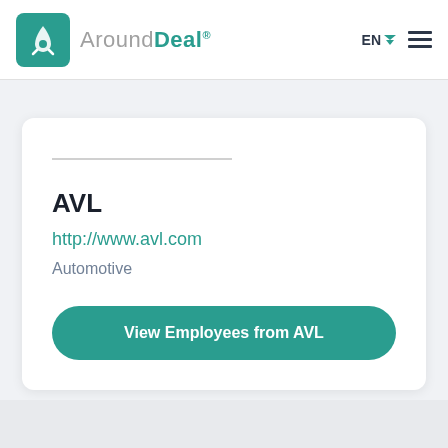[Figure (logo): AroundDeal logo with teal rocket icon and wordmark]
AVL
http://www.avl.com
Automotive
View Employees from AVL